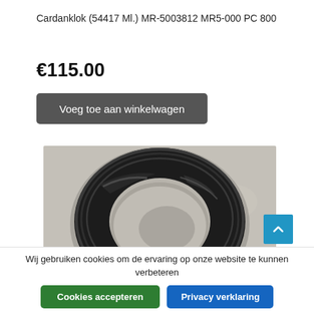Cardanklok (54417 Ml.) MR-5003812 MR5-000 PC 800
€115.00
Voeg toe aan winkelwagen
[Figure (photo): Black rubber/metal ring-shaped car part (Cardanklok) photographed on a concrete surface. The part is a thick circular ring with ridged edges, entirely black in color.]
Wij gebruiken cookies om de ervaring op onze website te kunnen verbeteren
Cookies accepteren
Privacy verklaring